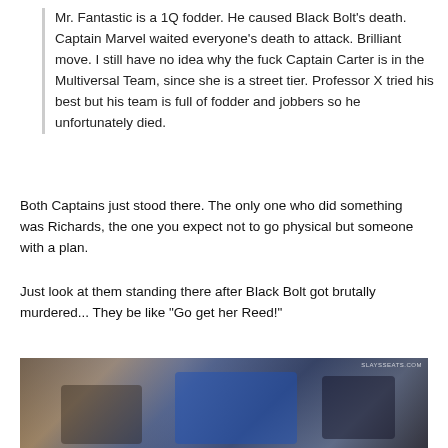Mr. Fantastic is a 1Q fodder. He caused Black Bolt's death. Captain Marvel waited everyone's death to attack. Brilliant move. I still have no idea why the fuck Captain Carter is in the Multiversal Team, since she is a street tier. Professor X tried his best but his team is full of fodder and jobbers so he unfortunately died.
Both Captains just stood there. The only one who did something was Richards, the one you expect not to go physical but someone with a plan.
Just look at them standing there after Black Bolt got brutally murdered... They be like "Go get her Reed!"
[Figure (photo): A movie still showing three superhero characters standing in a corridor or hallway. A man in a blue suit is in the center foreground. A woman in dark clothing is to the left, and a figure in a black and white costume is to the right background. The scene appears to be from a Marvel film, likely Doctor Strange in the Multiverse of Madness.]